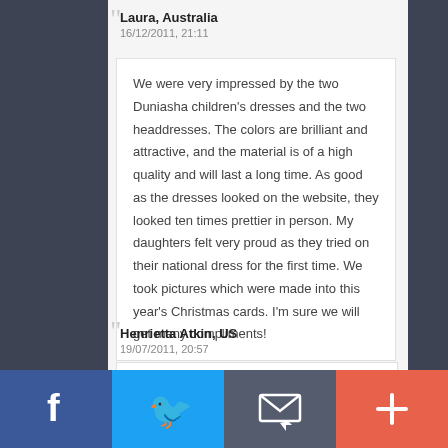Laura, Australia
16/12/2011, 21:11
We were very impressed by the two Duniasha children's dresses and the two headdresses. The colors are brilliant and attractive, and the material is of a high quality and will last a long time. As good as the dresses looked on the website, they looked ten times prettier in person. My daughters felt very proud as they tried on their national dress for the first time. We took pictures which were made into this year's Christmas cards. I'm sure we will get many compliments!
Henrietta Atkin, US
19/07/2011, 20:57